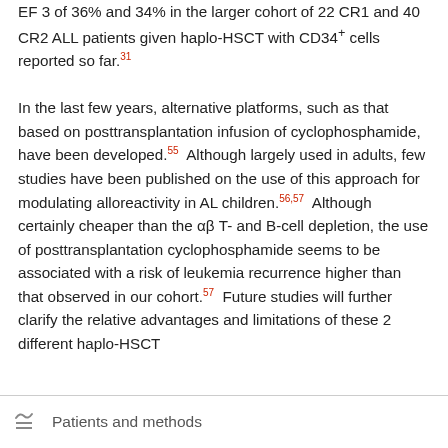EF 3 of 36% and 34% in the larger cohort of 22 CR1 and 40 CR2 ALL patients given haplo-HSCT with CD34+ cells reported so far.31  In the last few years, alternative platforms, such as that based on posttransplantation infusion of cyclophosphamide, have been developed.55  Although largely used in adults, few studies have been published on the use of this approach for modulating alloreactivity in AL children.56,57  Although certainly cheaper than the αβ T- and B-cell depletion, the use of posttransplantation cyclophosphamide seems to be associated with a risk of leukemia recurrence higher than that observed in our cohort.57  Future studies will further clarify the relative advantages and limitations of these 2 different haplo-HSCT platforms.
Patients and methods